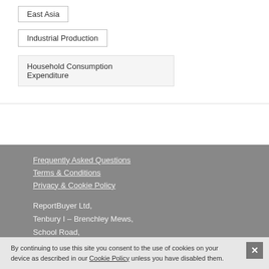East Asia
Industrial Production
Household Consumption Expenditure
Frequently Asked Questions
Terms & Conditions
Privacy & Cookie Policy

ReportBuyer Ltd,
Tenbury I – Brenchley Mews,
School Road,
By continuing to use this site you consent to the use of cookies on your device as described in our Cookie Policy unless you have disabled them.